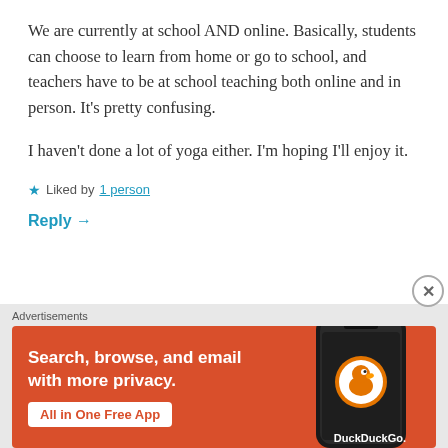We are currently at school AND online. Basically, students can choose to learn from home or go to school, and teachers have to be at school teaching both online and in person. It's pretty confusing.
I haven't done a lot of yoga either. I'm hoping I'll enjoy it.
★ Liked by 1 person
Reply →
[Figure (screenshot): DuckDuckGo advertisement banner with orange background. Left side shows bold white text: 'Search, browse, and email with more privacy.' with a white button 'All in One Free App'. Right side shows a dark smartphone with the DuckDuckGo logo (duck icon in orange circle) and 'DuckDuckGo.' text.]